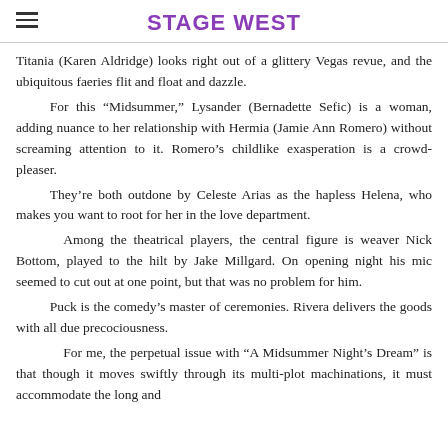STAGE WEST
Titania (Karen Aldridge) looks right out of a glittery Vegas revue, and the ubiquitous faeries flit and float and dazzle.

For this “Midsummer,” Lysander (Bernadette Sefic) is a woman, adding nuance to her relationship with Hermia (Jamie Ann Romero) without screaming attention to it. Romero’s childlike exasperation is a crowd-pleaser.

They’re both outdone by Celeste Arias as the hapless Helena, who makes you want to root for her in the love department.

Among the theatrical players, the central figure is weaver Nick Bottom, played to the hilt by Jake Millgard. On opening night his mic seemed to cut out at one point, but that was no problem for him.

Puck is the comedy’s master of ceremonies. Rivera delivers the goods with all due precociousness.

For me, the perpetual issue with “A Midsummer Night’s Dream” is that though it moves swiftly through its multi-plot machinations, it must accommodate the long and